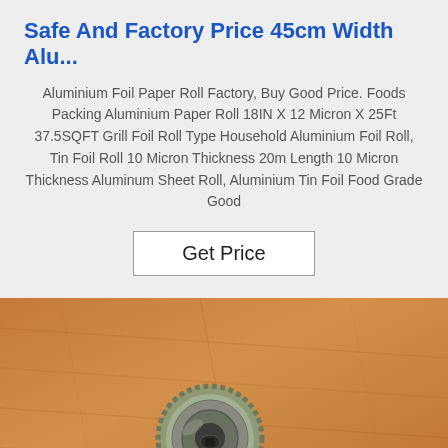Safe And Factory Price 45cm Width Alu...
Aluminium Foil Paper Roll Factory, Buy Good Price. Foods Packing Aluminium Paper Roll 18IN X 12 Micron X 25Ft 37.5SQFT Grill Foil Roll Type Household Aluminium Foil Roll, Tin Foil Roll 10 Micron Thickness 20m Length 10 Micron Thickness Aluminum Sheet Roll, Aluminium Tin Foil Food Grade Good
Get Price
[Figure (photo): Close-up photo of a metal bottle cap (crown cap) viewed from above, placed on a wooden surface. The cap has a serrated edge and shows a central circular design with ridges.]